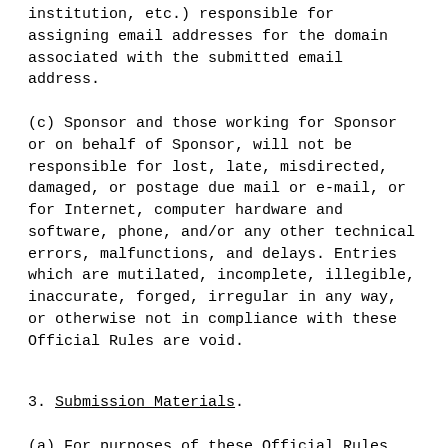institution, etc.) responsible for assigning email addresses for the domain associated with the submitted email address.
(c) Sponsor and those working for Sponsor or on behalf of Sponsor, will not be responsible for lost, late, misdirected, damaged, or postage due mail or e-mail, or for Internet, computer hardware and software, phone, and/or any other technical errors, malfunctions, and delays. Entries which are mutilated, incomplete, illegible, inaccurate, forged, irregular in any way, or otherwise not in compliance with these Official Rules are void.
3. Submission Materials.
(a) For purposes of these Official Rules all original content of the Entries shall be referred to herein as the "Submission Materials" to mediately concerns th